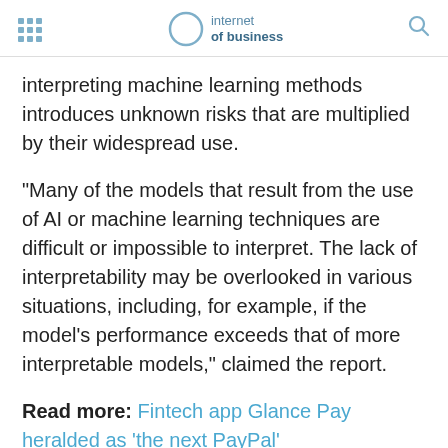internet of business
interpreting machine learning methods introduces unknown risks that are multiplied by their widespread use.
“Many of the models that result from the use of AI or machine learning techniques are difficult or impossible to interpret. The lack of interpretability may be overlooked in various situations, including, for example, if the model’s performance exceeds that of more interpretable models,” claimed the report.
Read more: Fintech app Glance Pay heralded as ‘the next PayPal’